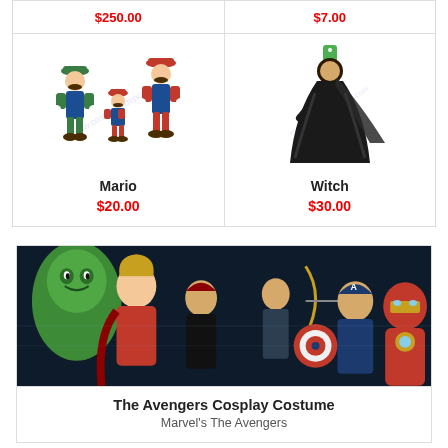$250.00
$7.00
[Figure (photo): Mario Bros costume group photo showing Mario, Luigi and small Mario figures]
Mario
$20.00
[Figure (photo): Witch costume - woman in black flowing witch costume and cape]
Witch
$30.00
[Figure (photo): The Avengers cosplay costume promotional image showing Marvel Avengers characters including Iron Man, Hulk, Black Widow, Hawkeye, Captain America, Thor]
The Avengers Cosplay Costume
Marvel's The Avengers
[Figure (photo): Partial view of another cosplay costume card at bottom of page]